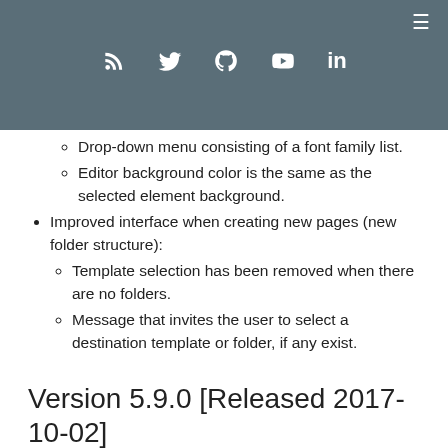☰ (hamburger icon) | RSS, Twitter, GitHub, YouTube, LinkedIn social icons
Drop-down menu consisting of a font family list.
Editor background color is the same as the selected element background.
Improved interface when creating new pages (new folder structure):
Template selection has been removed when there are no folders.
Message that invites the user to select a destination template or folder, if any exist.
Version 5.9.0 [Released 2017-10-02]
Bug Fixes + Fax Removal
1266 FAX removed